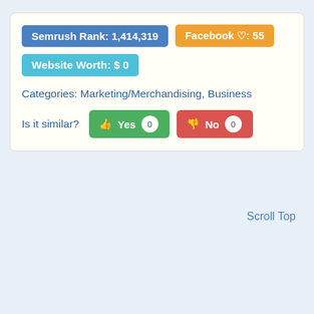Semrush Rank: 1,414,319
Facebook ♡: 55
Website Worth: $ 0
Categories: Marketing/Merchandising, Business
Is it similar?  Yes 0  No 0
Scroll Top